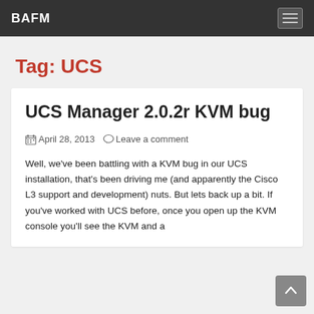BAFM
Tag: UCS
UCS Manager 2.0.2r KVM bug
April 28, 2013   Leave a comment
Well, we've been battling with a KVM bug in our UCS installation, that's been driving me (and apparently the Cisco L3 support and development) nuts. But lets back up a bit. If you've worked with UCS before, once you open up the KVM console you'll see the KVM and a